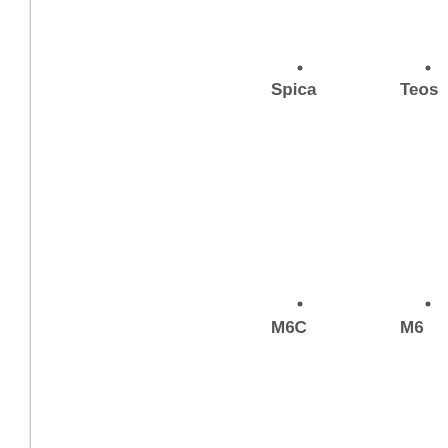[Figure (other): Star chart or galaxy map partial view showing labeled objects: Spica, Teos (partially visible), M6C, M6 (partially visible), with dot markers above each label. Left vertical border line visible.]
Spica
Teos
M6C
M6